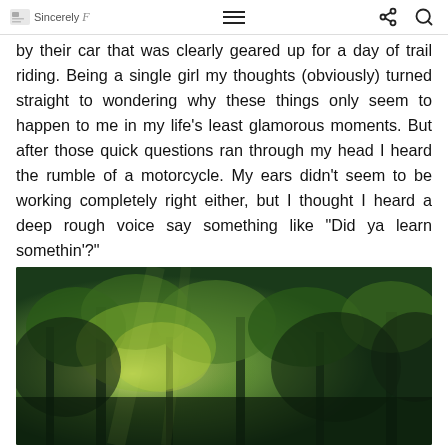Sincerely [logo]
by their car that was clearly geared up for a day of trail riding. Being a single girl my thoughts (obviously) turned straight to wondering why these things only seem to happen to me in my life’s least glamorous moments. But after those quick questions ran through my head I heard the rumble of a motorcycle. My ears didn’t seem to be working completely right either, but I thought I heard a deep rough voice say something like “Did ya learn somethin’?”
[Figure (photo): Photograph of dense green forest trees viewed from below, with sunlight filtering through the canopy, creating a lush green scene.]